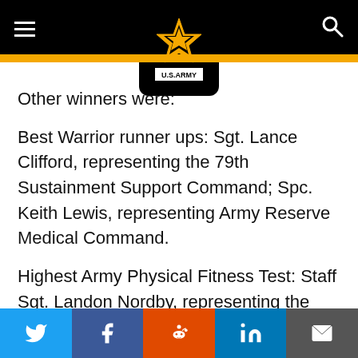U.S. Army website header with hamburger menu, U.S. Army logo, and search icon
Other winners were:
Best Warrior runner ups: Sgt. Lance Clifford, representing the 79th Sustainment Support Command; Spc. Keith Lewis, representing Army Reserve Medical Command.
Highest Army Physical Fitness Test: Staff Sgt. Landon Nordby, representing the 200th Military Police Command; Spc. Christopher Irizarry, representing 3rd Medical Deployment Support Command.
Social share buttons: Twitter, Facebook, Reddit, LinkedIn, Email